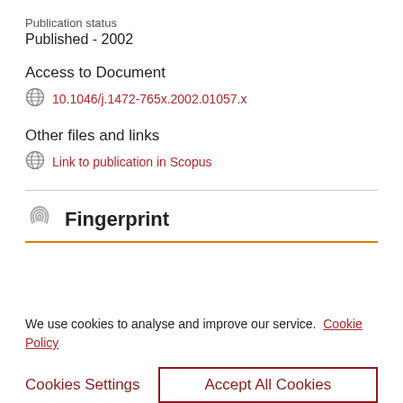Publication status
Published - 2002
Access to Document
10.1046/j.1472-765x.2002.01057.x
Other files and links
Link to publication in Scopus
Fingerprint
We use cookies to analyse and improve our service. Cookie Policy
Cookies Settings
Accept All Cookies